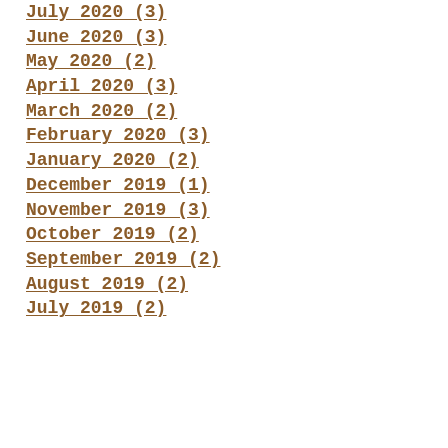July 2020 (3)
June 2020 (3)
May 2020 (2)
April 2020 (3)
March 2020 (2)
February 2020 (3)
January 2020 (2)
December 2019 (1)
November 2019 (3)
October 2019 (2)
September 2019 (2)
August 2019 (2)
July 2019 (2)